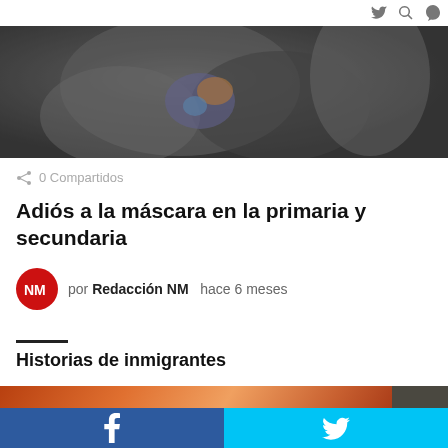[Figure (photo): Black and white photo of a person wearing a mask and colorful clothing, cropped at upper body]
0 Compartidos
Adiós a la máscara en la primaria y secundaria
por Redacción NM  hace 6 meses
Historias de inmigrantes
[Figure (photo): Close-up warm-toned photo, partially visible at bottom of page]
f    Twitter bird icon